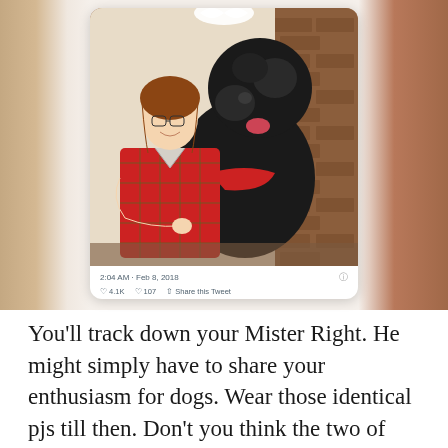[Figure (screenshot): A screenshot of a Twitter post showing a photo of a young woman and a large black curly-haired dog both wearing matching red plaid pajamas, posed in front of a brick fireplace. Below the photo: '2:04 AM · Feb 8, 2018' with heart icon '4.1K', comment icon '107', and 'Share this Tweet' link.]
You'll track down your Mister Right. He might simply have to share your enthusiasm for dogs. Wear those identical pjs till then. Don't you think the two of them are adorable? Maybe put them in a different drawer until you've gone on a few